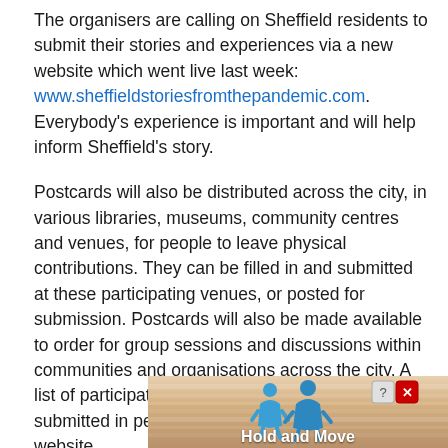The organisers are calling on Sheffield residents to submit their stories and experiences via a new website which went live last week: www.sheffieldstoriesfromthepandemic.com. Everybody's experience is important and will help inform Sheffield's story.
Postcards will also be distributed across the city, in various libraries, museums, community centres and venues, for people to leave physical contributions. They can be filled in and submitted at these participating venues, or posted for submission. Postcards will also be made available to order for group sessions and discussions within communities and organisations across the city. A list of participating venues where postcards can be submitted in person will be published on the website.
[Figure (screenshot): Advertisement banner at the bottom of the page showing a 'Hold and Move' ad with wooden/striped background, two blue cartoon figures, and close/help buttons in the top right corner.]